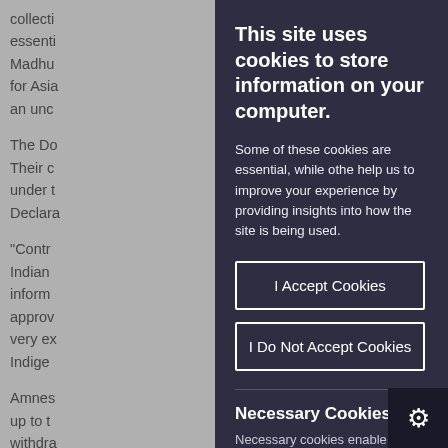collecti
essentl
Madhu
for Asia
an unc

The Do
Their c
under t
Declara

"Contr
Indian
inform
approv
very ex
Indige

Amnes
up to t
withdra
measu
This site uses cookies to store information on your computer.
Some of these cookies are essential, while othe help us to improve your experience by providing insights into how the site is being used.
I Accept Cookies
I Do Not Accept Cookies
Necessary Cookies
Necessary cookies enable core func